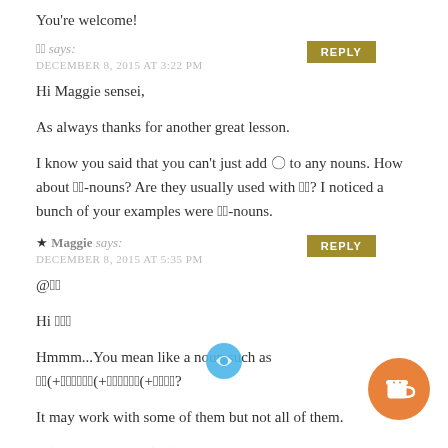You're welcome!
🔲🔲 says: DECEMBER 8, 2015 AT 3:22 PM
Hi Maggie sensei,

As always thanks for another great lesson.

I know you said that you can't just add 🔲 to any nouns. How about 🔲🔲-nouns? Are they usually used with 🔲🔲? I noticed a bunch of your examples were 🔲🔲-nouns.
★ Maggie says: DECEMBER 8, 2015 AT 5:35 PM
@🔲🔲

Hi 🔲🔲🔲
Hmmm...You mean like a noun such as 🔲🔲(+🔲🔲🔲🔲🔲🔲(+🔲🔲🔲🔲🔲🔲(+🔲🔲🔲🔲?
It may work with some of them but not all of them.
🔲🔲(+🔲🔲🔲🔲🔲🔲🔲🔲🔲🔲🔲🔲🔲🔲🔲🔲(+🔲🔲) 🔲They all won't work with 🔲